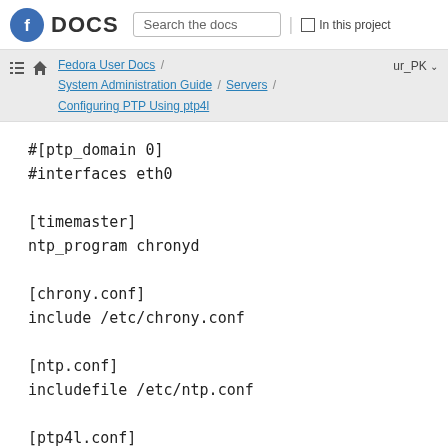Fedora DOCS — Search the docs | In this project
Fedora User Docs / System Administration Guide / Servers / ur_PK — Configuring PTP Using ptp4l
#[ptp_domain 0]
#interfaces eth0

[timemaster]
ntp_program chronyd

[chrony.conf]
include /etc/chrony.conf

[ntp.conf]
includefile /etc/ntp.conf

[ptp4l.conf]